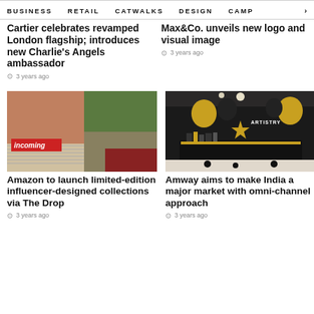BUSINESS   RETAIL   CATWALKS   DESIGN   CAMP >
Cartier celebrates revamped London flagship; introduces new Charlie's Angels ambassador
3 years ago
Max&Co. unveils new logo and visual image
3 years ago
[Figure (photo): Collage image with 'incoming' label in red, showing a woman with camera and fashion/lifestyle scenes]
[Figure (photo): Interior of an Artistry beauty store with black decor and gold/black balloons]
Amazon to launch limited-edition influencer-designed collections via The Drop
3 years ago
Amway aims to make India a major market with omni-channel approach
3 years ago